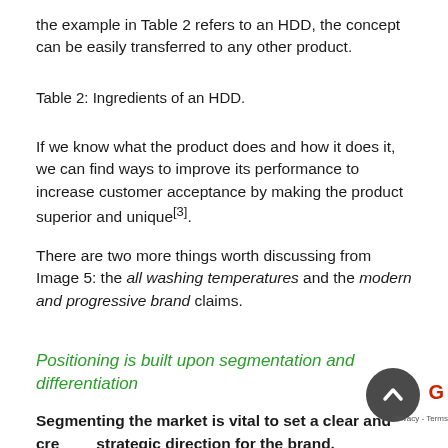the example in Table 2 refers to an HDD, the concept can be easily transferred to any other product.
Table 2: Ingredients of an HDD.
If we know what the product does and how it does it, we can find ways to improve its performance to increase customer acceptance by making the product superior and unique[3].
There are two more things worth discussing from Image 5: the all washing temperatures and the modern and progressive brand claims.
Positioning is built upon segmentation and differentiation
Segmenting the market is vital to set a clear and cre… strategic direction for the brand.